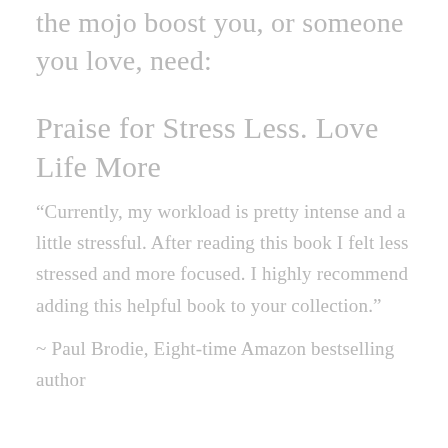the mojo boost you, or someone you love, need:
Praise for Stress Less. Love Life More
“Currently, my workload is pretty intense and a little stressful. After reading this book I felt less stressed and more focused. I highly recommend adding this helpful book to your collection.”
~ Paul Brodie, Eight-time Amazon bestselling author